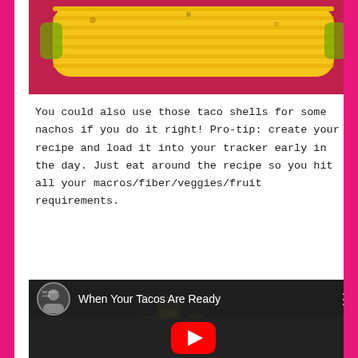[Figure (photo): Photo of corn on the cob on a pink/red plate, cropped at top]
You could also use those taco shells for some nachos if you do it right! Pro-tip: create your recipe and load it into your tracker early in the day. Just eat around the recipe so you hit all your macros/fiber/veggies/fruit requirements.
[Figure (screenshot): YouTube video thumbnail titled 'When Your Tacos Are Ready' showing a child dancing, with YouTube play button overlay]